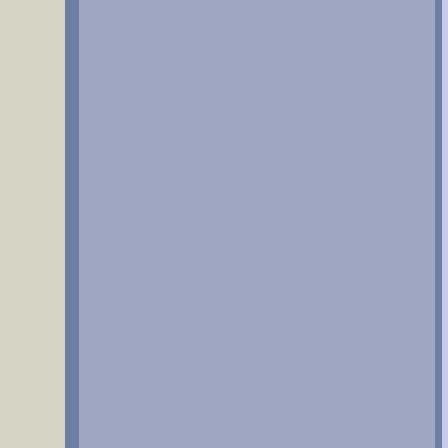4) Please truncate (previous posts) w... getting e-mail dig...
5) Please try to k... (i.e. related to 50... mods, etc.). Whe... a topic, please pa... post will be visible... may not necessa...
6) Sales of merch... sales/trades post... forum and the rul... 501st merchandis... members through... this board and yo... areas. "Official m... Exceptions to this... profit would go to... merchandise as g... include official 50... name or logo (inc... 501st groups) an... Legion Merchand... merchandise qua... Merchandise Offi... currently serves i... merchandise info...